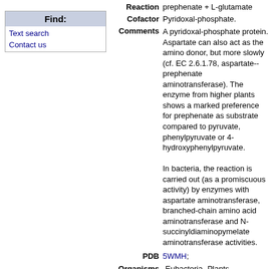Find:
Text search
Contact us
Reaction prephenate + L-glutamate
Cofactor Pyridoxal-phosphate.
Comments A pyridoxal-phosphate protein. Aspartate can also act as the amino donor, but more slowly (cf. EC 2.6.1.78, aspartate--prephenate aminotransferase). The enzyme from higher plants shows a marked preference for prephenate as substrate compared to pyruvate, phenylpyruvate or 4-hydroxyphenylpyruvate. In bacteria, the reaction is carried out (as a promiscuous activity) by enzymes with aspartate aminotransferase, branched-chain amino acid aminotransferase and N-succinyldiaminopymelate aminotransferase activities.
PDB 5WMH;
Organisms -Eubacteria -Plants
[Figure (other): Gray separator bar]
Family 2.6.1.79 (0)
[Figure (other): Gray separator bar]
Links Enzyme (activities) 2.6.1.79 BRENDA (activities) 2.6.1.79